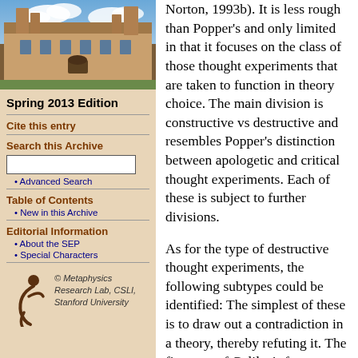[Figure (photo): Photograph of a sandstone university building (likely University of Sydney) with a blue sky and clouds in the background.]
Spring 2013 Edition
Cite this entry
Search this Archive
Advanced Search
Table of Contents
New in this Archive
Editorial Information
About the SEP
Special Characters
[Figure (logo): Metaphysics Research Lab logo — a stylized figure/person icon in dark brown.]
© Metaphysics Research Lab, CSLI, Stanford University
Norton, 1993b). It is less rough than Popper's and only limited in that it focuses on the class of those thought experiments that are taken to function in theory choice. The main division is constructive vs destructive and resembles Popper's distinction between apologetic and critical thought experiments. Each of these is subject to further divisions.
As for the type of destructive thought experiments, the following subtypes could be identified: The simplest of these is to draw out a contradiction in a theory, thereby refuting it. The first part of Galileo's famous falling bodies example does